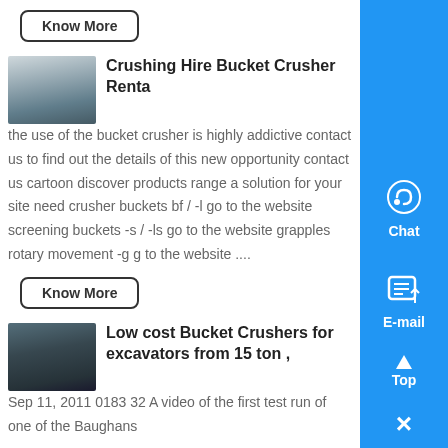Know More
[Figure (photo): Industrial crushing/screening equipment at a facility, outdoor setting]
Crushing Hire Bucket Crusher Renta
the use of the bucket crusher is highly addictive contact us to find out the details of this new opportunity contact us cartoon discover products range a solution for your site need crusher buckets bf / -l go to the website screening buckets -s / -ls go to the website grapples rotary movement -g g to the website ....
Know More
[Figure (photo): Dark industrial building interior with construction equipment]
Low cost Bucket Crushers for excavators from 15 ton ,
Sep 11, 2011 0183 32 A video of the first test run of one of the Baughans